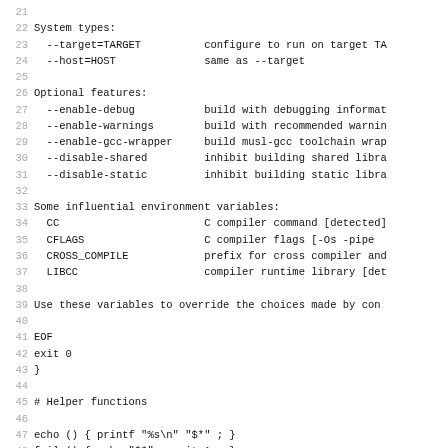Source code / shell script lines 21-53 showing configure help output and shell helper functions